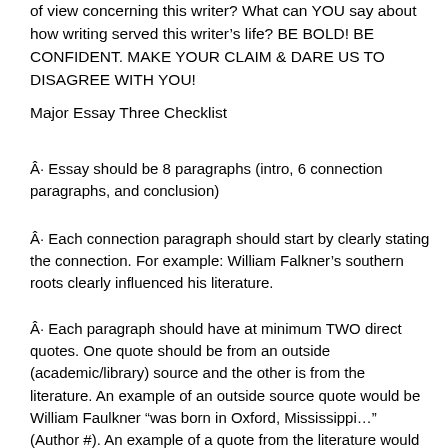of view concerning this writer? What can YOU say about how writing served this writer’s life? BE BOLD! BE CONFIDENT. MAKE YOUR CLAIM & DARE US TO DISAGREE WITH YOU!
Major Essay Three Checklist
Essay should be 8 paragraphs (intro, 6 connection paragraphs, and conclusion)
Each connection paragraph should start by clearly stating the connection. For example: William Falkner’s southern roots clearly influenced his literature.
Each paragraph should have at minimum TWO direct quotes. One quote should be from an outside (academic/library) source and the other is from the literature. An example of an outside source quote would be William Faulkner “was born in Oxford, Mississippi… (Author #). An example of a quote from the literature would be Miss Emily was from Mississippi as well as reflected when Faulkner